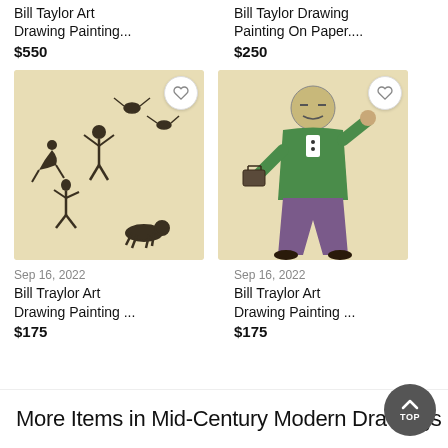Bill Taylor Art Drawing Painting...
$550
Bill Taylor Drawing Painting On Paper....
$250
[Figure (illustration): Bill Traylor artwork showing primitive cave-painting style figures: humans and animals in dynamic poses on a yellowed paper background]
[Figure (illustration): Bill Traylor artwork showing a man in a green shirt and purple pants holding a briefcase, with a simple face, on yellowed paper background]
Sep 16, 2022
Bill Traylor Art Drawing Painting ...
$175
Sep 16, 2022
Bill Traylor Art Drawing Painting ...
$175
More Items in Mid-Century Modern Drawings